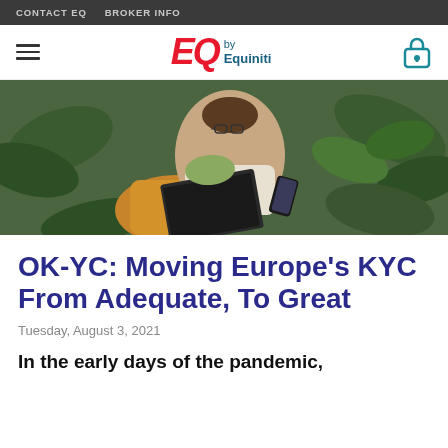CONTACT EQ   BROKER INFO
[Figure (logo): EQ by Equiniti logo with hamburger menu and lock icon]
[Figure (photo): Woman sitting indoors surrounded by plants, using a laptop and holding a smartphone]
OK-YC: Moving Europe's KYC From Adequate, To Great
Tuesday, August 3, 2021
In the early days of the pandemic,